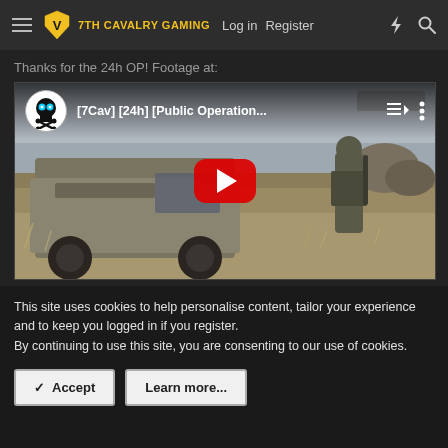7TH CAVALRY GAMING  Log in  Register
Thanks for the 24h OP! Footage at:
[Figure (screenshot): YouTube video embed showing '[7Cav] [24h] [Public Operation...' with a military Humvee and soldiers in an arid field, with a red YouTube play button overlay and a skull-crossbones avatar icon.]
This site uses cookies to help personalise content, tailor your experience and to keep you logged in if you register.
By continuing to use this site, you are consenting to our use of cookies.
✓ Accept    Learn more...